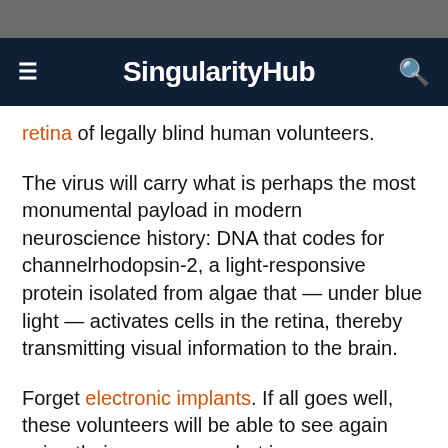SingularityHub
retina of legally blind human volunteers.
The virus will carry what is perhaps the most monumental payload in modern neuroscience history: DNA that codes for channelrhodopsin-2, a light-responsive protein isolated from algae that — under blue light — activates cells in the retina, thereby transmitting visual information to the brain.
Forget electronic implants. If all goes well, these volunteers will be able to see again using their own eyes — but in no way a human